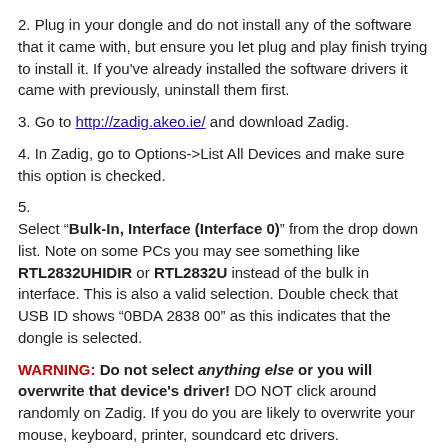2. Plug in your dongle and do not install any of the software that it came with, but ensure you let plug and play finish trying to install it. If you've already installed the software drivers it came with previously, uninstall them first.
3. Go to http://zadig.akeo.ie/ and download Zadig.
4. In Zadig, go to Options->List All Devices and make sure this option is checked.
5. Select "Bulk-In, Interface (Interface 0)" from the drop down list. Note on some PCs you may see something like RTL2832UHIDIR or RTL2832U instead of the bulk in interface. This is also a valid selection. Double check that USB ID shows "0BDA 2838 00" as this indicates that the dongle is selected.
WARNING: Do not select anything else or you will overwrite that device's driver! DO NOT click around randomly on Zadig. If you do you are likely to overwrite your mouse, keyboard, printer, soundcard etc drivers.